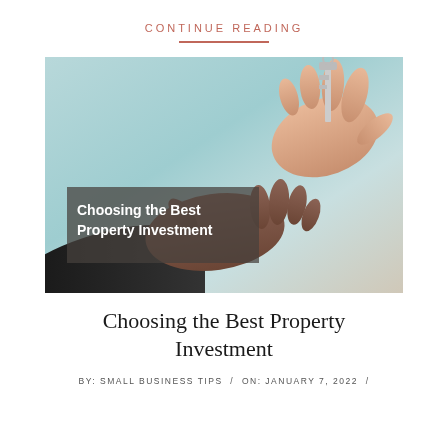CONTINUE READING
[Figure (photo): Two hands exchanging a key, with a semi-transparent dark overlay box containing the text 'Choosing the Best Property Investment']
Choosing the Best Property Investment
BY: SMALL BUSINESS TIPS / ON: JANUARY 7, 2022 /